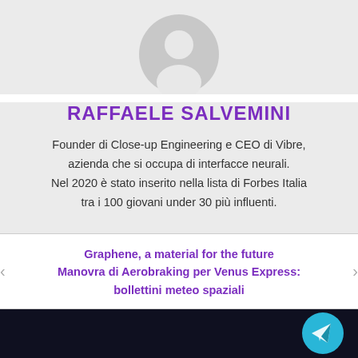[Figure (illustration): Gray placeholder avatar/profile icon (silhouette of a person) on light gray background]
RAFFAELE SALVEMINI
Founder di Close-up Engineering e CEO di Vibre, azienda che si occupa di interfacce neurali. Nel 2020 è stato inserito nella lista di Forbes Italia tra i 100 giovani under 30 più influenti.
< Graphene, a material for the future
Manovra di Aerobraking per Venus Express: bollettini meteo spaziali >
[Figure (logo): Telegram messenger blue circle button with white paper plane icon in bottom right corner]